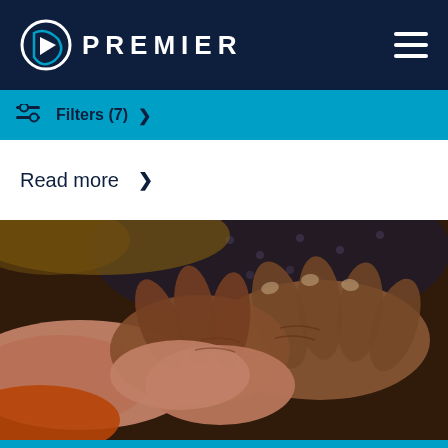PREMIER
Filters (7) >
Read more >
[Figure (photo): Close-up photo of elderly person's hands being held gently by a younger person's hand, suggesting care and compassion.]